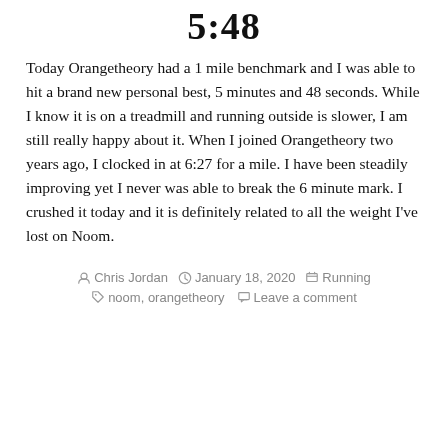5:48
Today Orangetheory had a 1 mile benchmark and I was able to hit a brand new personal best, 5 minutes and 48 seconds. While I know it is on a treadmill and running outside is slower, I am still really happy about it. When I joined Orangetheory two years ago, I clocked in at 6:27 for a mile. I have been steadily improving yet I never was able to break the 6 minute mark. I crushed it today and it is definitely related to all the weight I've lost on Noom.
Chris Jordan  January 18, 2020  Running  noom, orangetheory  Leave a comment